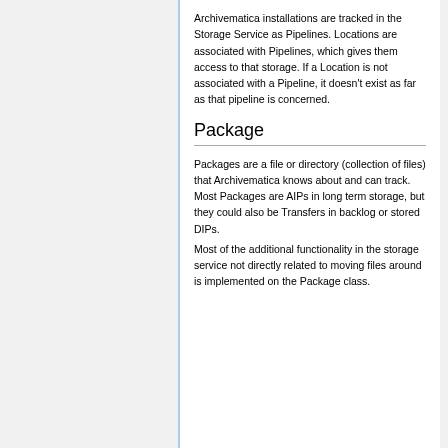Archivematica installations are tracked in the Storage Service as Pipelines. Locations are associated with Pipelines, which gives them access to that storage. If a Location is not associated with a Pipeline, it doesn't exist as far as that pipeline is concerned.
Package
Packages are a file or directory (collection of files) that Archivematica knows about and can track. Most Packages are AIPs in long term storage, but they could also be Transfers in backlog or stored DIPs.
Most of the additional functionality in the storage service not directly related to moving files around is implemented on the Package class.